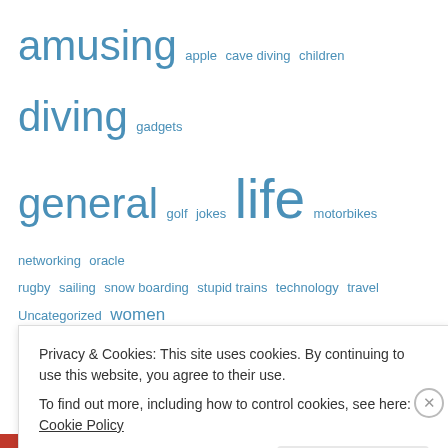[Figure (other): Tag cloud with blog category tags in varying font sizes, all in blue: amusing (large), apple (small), cave diving (small), children (small), diving (large), gadgets (small), general (large), golf (small), jokes (small), life (extra large), motorbikes (small), networking (small), oracle (small), rugby (small), sailing (small), snow boarding (small), stupid trains (small), technology (small), travel (small), Uncategorized (small), women (medium)]
Archives
August 2012 (1)
January 2012 (3)
May 2011 (1)
Privacy & Cookies: This site uses cookies. By continuing to use this website, you agree to their use.
To find out more, including how to control cookies, see here: Cookie Policy